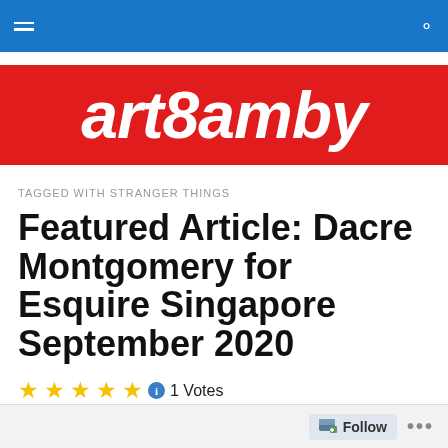art8amby navigation bar with hamburger menu and search icon
[Figure (logo): art8amby logo in white italic bold text on red background]
TAGGED WITH STRANGER THINGS
Featured Article: Dacre Montgomery for Esquire Singapore September 2020
★★★★★ 1 Votes
Stranger Things star Dacre Montgomery surfaces for the...